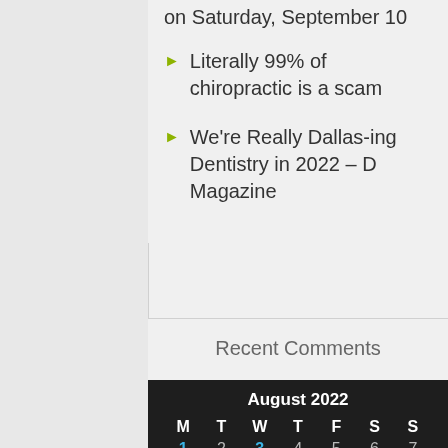on Saturday, September 10
Literally 99% of chiropractic is a scam
We're Really Dallas-ing Dentistry in 2022 – D Magazine
Recent Comments
| M | T | W | T | F | S | S |
| --- | --- | --- | --- | --- | --- | --- |
| 1 | 2 | 3 | 4 | 5 | 6 | 7 |